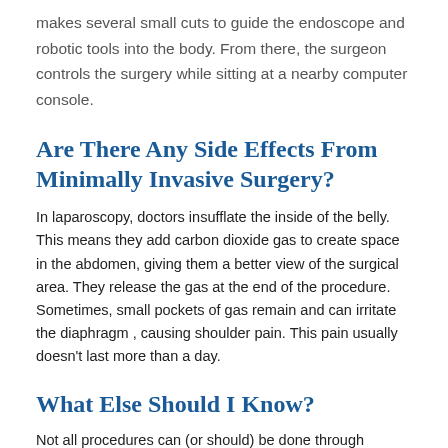makes several small cuts to guide the endoscope and robotic tools into the body. From there, the surgeon controls the surgery while sitting at a nearby computer console.
Are There Any Side Effects From Minimally Invasive Surgery?
In laparoscopy, doctors insufflate the inside of the belly. This means they add carbon dioxide gas to create space in the abdomen, giving them a better view of the surgical area. They release the gas at the end of the procedure. Sometimes, small pockets of gas remain and can irritate the diaphragm , causing shoulder pain. This pain usually doesn't last more than a day.
What Else Should I Know?
Not all procedures can (or should) be done through minimally invasive methods. Your doctor will tell you what type of surgery is best for your child. Be sure to ask about the possible risks of any